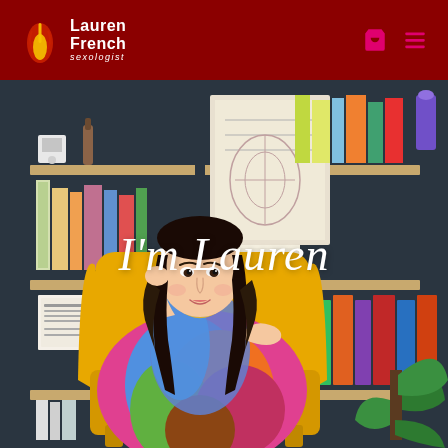Lauren French sexologist
[Figure (photo): Woman with dark hair sitting in a yellow wingback chair in front of a bookshelf, wearing a colorful abstract print dress, with the text 'I'm Lauren' overlaid in italic white serif font]
I'm Lauren